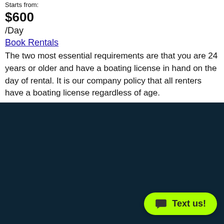Starts from:
$600
/Day
Book Rentals
The two most essential requirements are that you are 24 years or older and have a boating license in hand on the day of rental. It is our company policy that all renters have a boating license regardless of age.
[Figure (photo): Dark navy/teal background section occupying the lower portion of the page, with a 'Text us!' chat button in the bottom right corner on a bright yellow-green background.]